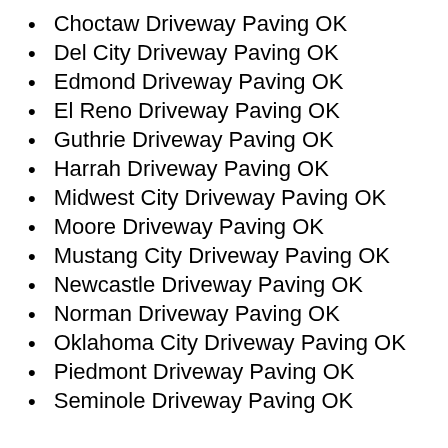Choctaw Driveway Paving OK
Del City Driveway Paving OK
Edmond Driveway Paving OK
El Reno Driveway Paving OK
Guthrie Driveway Paving OK
Harrah Driveway Paving OK
Midwest City Driveway Paving OK
Moore Driveway Paving OK
Mustang City Driveway Paving OK
Newcastle Driveway Paving OK
Norman Driveway Paving OK
Oklahoma City Driveway Paving OK
Piedmont Driveway Paving OK
Seminole Driveway Paving OK